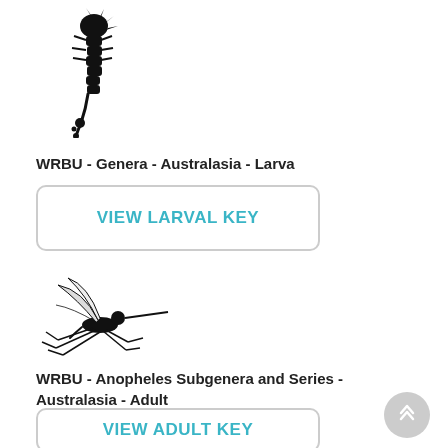[Figure (illustration): Black silhouette illustration of a mosquito larva oriented vertically]
WRBU - Genera - Australasia - Larva
VIEW LARVAL KEY
[Figure (illustration): Black line illustration of an adult mosquito in side profile]
WRBU - Anopheles Subgenera and Series - Australasia - Adult
VIEW ADULT KEY